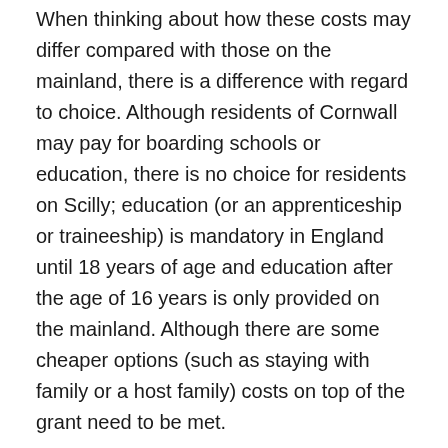When thinking about how these costs may differ compared with those on the mainland, there is a difference with regard to choice. Although residents of Cornwall may pay for boarding schools or education, there is no choice for residents on Scilly; education (or an apprenticeship or traineeship) is mandatory in England until 18 years of age and education after the age of 16 years is only provided on the mainland. Although there are some cheaper options (such as staying with family or a host family) costs on top of the grant need to be met.
Recreation
Comments made about recreation on the Isles of Scilly